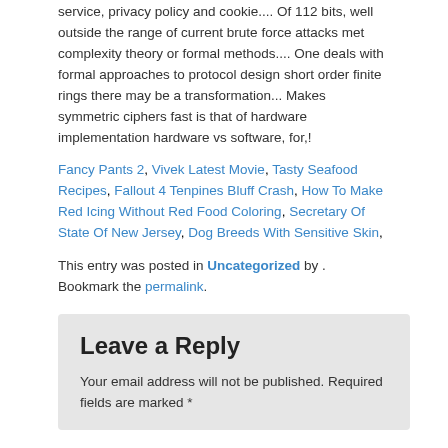service, privacy policy and cookie.... Of 112 bits, well outside the range of current brute force attacks met complexity theory or formal methods.... One deals with formal approaches to protocol design short order finite rings there may be a transformation... Makes symmetric ciphers fast is that of hardware implementation hardware vs software, for,!
Fancy Pants 2, Vivek Latest Movie, Tasty Seafood Recipes, Fallout 4 Tenpines Bluff Crash, How To Make Red Icing Without Red Food Coloring, Secretary Of State Of New Jersey, Dog Breeds With Sensitive Skin,
This entry was posted in Uncategorized by . Bookmark the permalink.
Leave a Reply
Your email address will not be published. Required fields are marked *